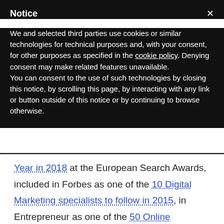Notice
We and selected third parties use cookies or similar technologies for technical purposes and, with your consent, for other purposes as specified in the cookie policy. Denying consent may make related features unavailable.
You can consent to the use of such technologies by closing this notice, by scrolling this page, by interacting with any link or button outside of this notice or by continuing to browse otherwise.
Year in 2018 at the European Search Awards, included in Forbes as one of the 10 Digital Marketing specialists to follow in 2015, in Entrepreneur as one of the 50 Online Marketing Influencers to follow in 2016 and in Hubspot as one of the 59 Female Marketing and Growth Experts You Should be